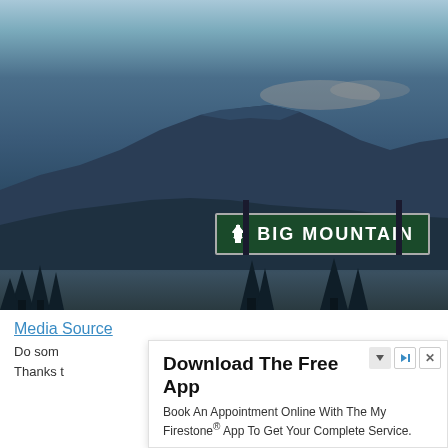[Figure (photo): Outdoor photo of Big Mountain with a dark mountain range in the background under a light blue sky, and a green highway sign reading 'BIG MOUNTAIN' with an upward arrow in the foreground. Dark trees visible at the bottom.]
Media Source
Do som... vs. Thanks t... ountain.
[Figure (screenshot): Advertisement overlay popup: 'Download The Free App' - Book An Appointment Online With The My Firestone® App To Get Your Complete Service. Brand: Firestone. Download button.]